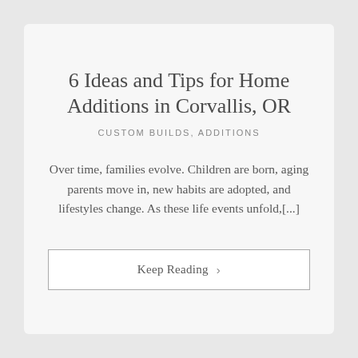6 Ideas and Tips for Home Additions in Corvallis, OR
CUSTOM BUILDS, ADDITIONS
Over time, families evolve. Children are born, aging parents move in, new habits are adopted, and lifestyles change. As these life events unfold,[...]
Keep Reading >